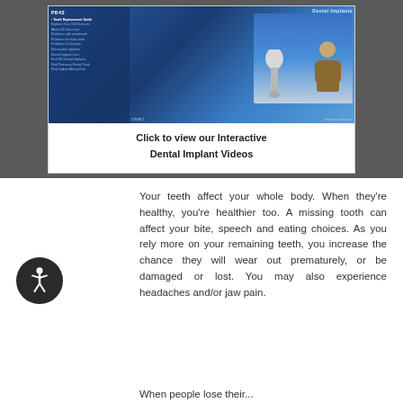[Figure (screenshot): Screenshot of a dental implant website (PB4S) with blue theme, navigation sidebar, and images of dental implants and a person. Below the screenshot: 'Click to view our Interactive Dental Implant Videos']
Click to view our Interactive Dental Implant Videos
Your teeth affect your whole body. When they're healthy, you're healthier too. A missing tooth can affect your bite, speech and eating choices. As you rely more on your remaining teeth, you increase the chance they will wear out prematurely, or be damaged or lost. You may also experience headaches and/or jaw pain.
When people lose their...